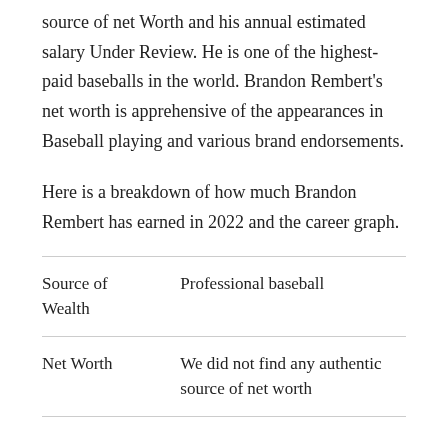source of net Worth and his annual estimated salary Under Review. He is one of the highest-paid baseballs in the world. Brandon Rembert's net worth is apprehensive of the appearances in Baseball playing and various brand endorsements.
Here is a breakdown of how much Brandon Rembert has earned in 2022 and the career graph.
|  |  |
| --- | --- |
| Source of Wealth | Professional baseball |
| Net Worth | We did not find any authentic source of net worth |